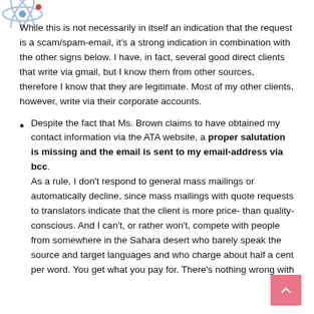[Figure (logo): Website logo icon in top-left corner]
While this is not necessarily in itself an indication that the request is a scam/spam-email, it's a strong indication in combination with the other signs below. I have, in fact, several good direct clients that write via gmail, but I know them from other sources, therefore I know that they are legitimate. Most of my other clients, however, write via their corporate accounts.
Despite the fact that Ms. Brown claims to have obtained my contact information via the ATA website, a proper salutation is missing and the email is sent to my email-address via bcc. As a rule, I don't respond to general mass mailings or automatically decline, since mass mailings with quote requests to translators indicate that the client is more price- than quality-conscious. And I can't, or rather won't, compete with people from somewhere in the Sahara desert who barely speak the source and target languages and who charge about half a cent per word. You get what you pay for. There's nothing wrong with